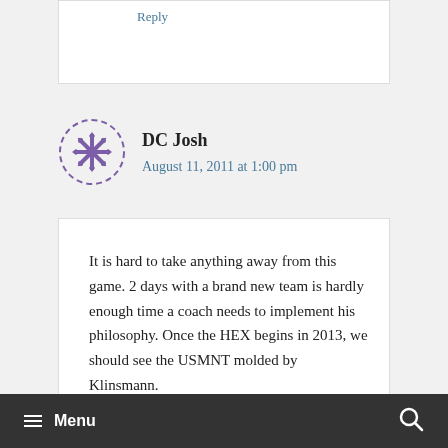Reply
DC Josh
August 11, 2011 at 1:00 pm
It is hard to take anything away from this game. 2 days with a brand new team is hardly enough time a coach needs to implement his philosophy. Once the HEX begins in 2013, we should see the USMNT molded by Klinsmann.
≡ Menu  🔍